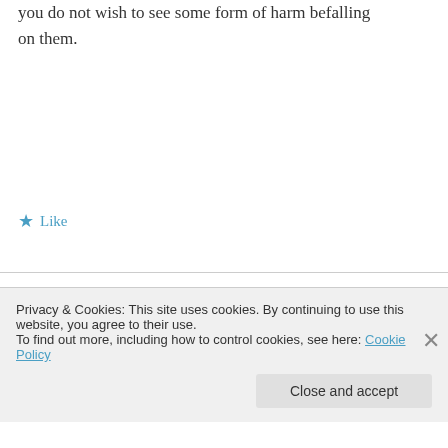you do not wish to see some form of harm befalling on them.
★ Like
Cathleen on March 13, 2014 at 7:32 pm
Aw, this was an incredibly nice post. Finding the time and actual effort to generate a good article… but what can I say… I put things
Privacy & Cookies: This site uses cookies. By continuing to use this website, you agree to their use.
To find out more, including how to control cookies, see here: Cookie Policy
Close and accept